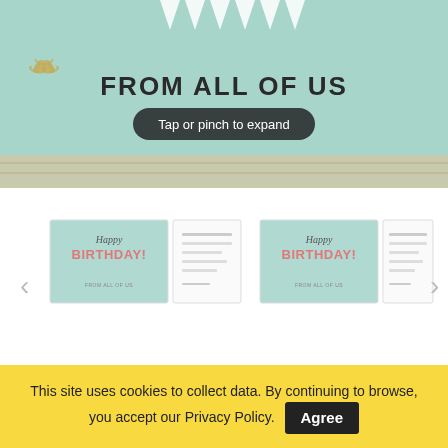[Figure (photo): Mint green birthday card product image with 'FROM ALL OF US' text and 'Tap or pinch to expand' tooltip, with navigation thumbnails showing front and inside of birthday card]
[Figure (screenshot): Social sharing buttons: share (green), Facebook (blue), Twitter (light blue), LinkedIn (dark blue), Pinterest (red), email (grey)]
MINT GREEN HAPPY BIRTHDAY GREETING CARD - QTY 50
This site uses cookies to collect data. By continuing to browse, you accept our Privacy Policy.  Agree